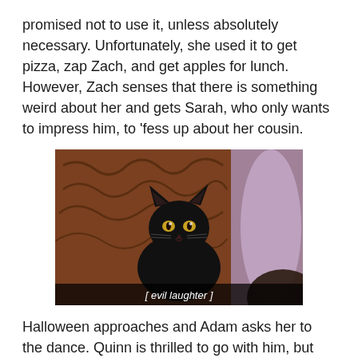promised not to use it, unless absolutely necessary. Unfortunately, she used it to get pizza, zap Zach, and get apples for lunch. However, Zach senses that there is something weird about her and gets Sarah, who only wants to impress him, to 'fess up about her cousin.
[Figure (photo): A black cat sitting upright, looking at the camera with bright eyes, against a background of wooden carved decorations and a purple/blue blurred background. A subtitle at the bottom reads '[ evil laughter ]'.]
Halloween approaches and Adam asks her to the dance. Quinn is thrilled to go with him, but then Zach enters and the testosterone goes flying as he tries to bully them into